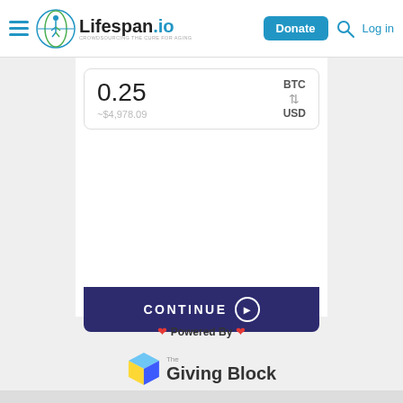Lifespan.io — Donate | Log in
[Figure (screenshot): Cryptocurrency donation widget showing 0.25 BTC (~$4,978.09 USD) with a CONTINUE button, powered by The Giving Block]
0.25
~$4,978.09
BTC ⇅ USD
CONTINUE
❤ Powered By ❤
[Figure (logo): The Giving Block logo — cube icon with yellow and blue faces, text reads 'The Giving Block']